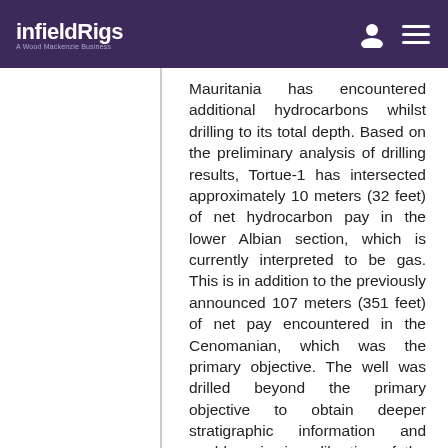infieldRigs — A Wood Mackenzie Business
Mauritania has encountered additional hydrocarbons whilst drilling to its total depth. Based on the preliminary analysis of drilling results, Tortue-1 has intersected approximately 10 meters (32 feet) of net hydrocarbon pay in the lower Albian section, which is currently interpreted to be gas. This is in addition to the previously announced 107 meters (351 feet) of net pay encountered in the Cenomanian, which was the primary objective. The well was drilled beyond the primary objective to obtain deeper stratigraphic information and enable seismic calibration of the Albian, which will be tested in subsequent wells. Down to total depth drilled, no water was encountered in the well. Brian F. Maxted, chief exploration officer, said: “We are encouraged by the presence of additional hydrocarbons in the deeper portion of the well. This suggests we have a working hydrocarbon system in both the Albian and Cenomanian sequences. While the Albian was not the primary objective of the Tortue-1 well,